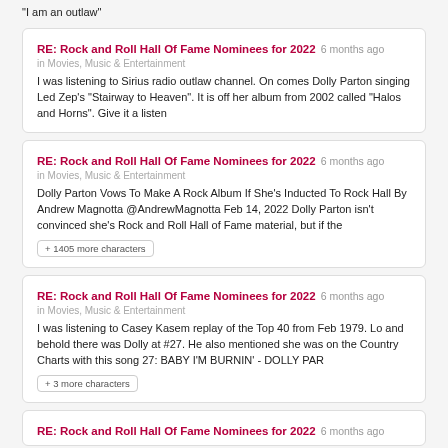"I am an outlaw"
RE: Rock and Roll Hall Of Fame Nominees for 2022 6 months ago
in Movies, Music & Entertainment
I was listening to Sirius radio outlaw channel. On comes Dolly Parton singing Led Zep's "Stairway to Heaven". It is off her album from 2002 called "Halos and Horns". Give it a listen
RE: Rock and Roll Hall Of Fame Nominees for 2022 6 months ago
in Movies, Music & Entertainment
Dolly Parton Vows To Make A Rock Album If She's Inducted To Rock Hall By Andrew Magnotta @AndrewMagnotta Feb 14, 2022 Dolly Parton isn't convinced she's Rock and Roll Hall of Fame material, but if the
+ 1405 more characters
RE: Rock and Roll Hall Of Fame Nominees for 2022 6 months ago
in Movies, Music & Entertainment
I was listening to Casey Kasem replay of the Top 40 from Feb 1979. Lo and behold there was Dolly at #27. He also mentioned she was on the Country Charts with this song 27: BABY I'M BURNIN' - DOLLY PAR
+ 3 more characters
RE: Rock and Roll Hall Of Fame Nominees for 2022 6 months ago